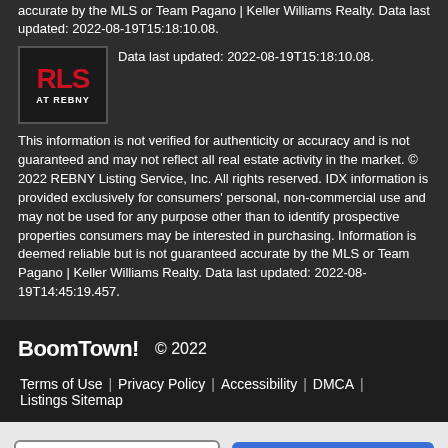accurate by the MLS or Team Pagano | Keller Williams Realty. Data last updated: 2022-08-19T15:18:10.08.
[Figure (logo): RLS AT REBNY logo — red bold text 'RLS' over white text 'AT REBNY' on dark background]
This information is not verified for authenticity or accuracy and is not guaranteed and may not reflect all real estate activity in the market. © 2022 REBNY Listing Service, Inc. All rights reserved. IDX information is provided exclusively for consumers' personal, non-commercial use and may not be used for any purpose other than to identify prospective properties consumers may be interested in purchasing. Information is deemed reliable but is not guaranteed accurate by the MLS or Team Pagano | Keller Williams Realty. Data last updated: 2022-08-19T14:45:19.457.
BoomTown! © 2022
Terms of Use | Privacy Policy | Accessibility | DMCA | Listings Sitemap
Take a Tour
Ask A Question